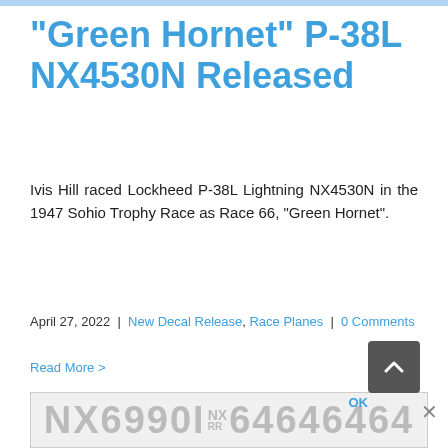"Green Hornet" P-38L NX4530N Released
Ivis Hill raced Lockheed P-38L Lightning NX4530N in the 1947 Sohio Trophy Race as Race 66, "Green Hornet".
April 27, 2022 | New Decal Release, Race Planes | 0 Comments
Read More >
We use cookies to ensure that we give you the best experience on our website. If you continue to use this site we will assume that you are happy with it.
[Figure (photo): Bottom bar showing aircraft registration numbers NX6990I and 64646464]